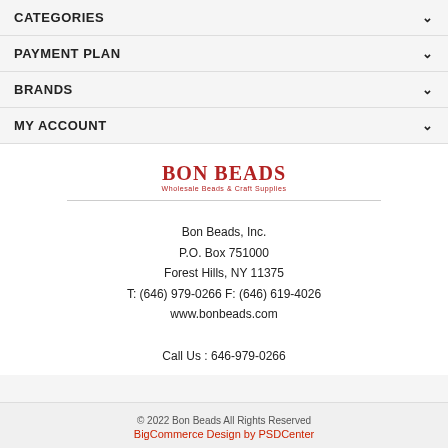CATEGORIES
PAYMENT PLAN
BRANDS
MY ACCOUNT
[Figure (logo): Bon Beads logo with text 'BON BEADS' and subtitle 'Wholesale Beads & Craft Supplies']
Bon Beads, Inc.
P.O. Box 751000
Forest Hills, NY 11375
T: (646) 979-0266 F: (646) 619-4026
www.bonbeads.com
Call Us : 646-979-0266
© 2022 Bon Beads All Rights Reserved
BigCommerce Design by PSDCenter